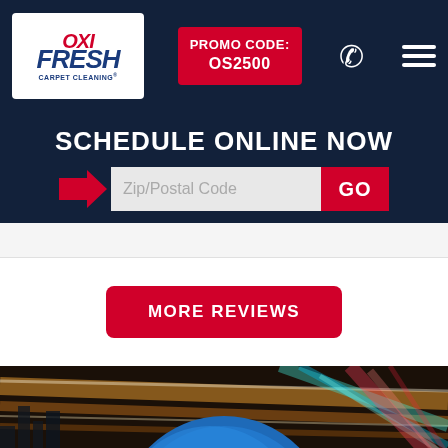[Figure (logo): Oxi Fresh Carpet Cleaning logo — red and blue text on white background]
PROMO CODE: OS2500
SCHEDULE ONLINE NOW
Zip/Postal Code  GO
MORE REVIEWS
[Figure (photo): Speed lights background with blue circular badge showing ONE HOUR text]